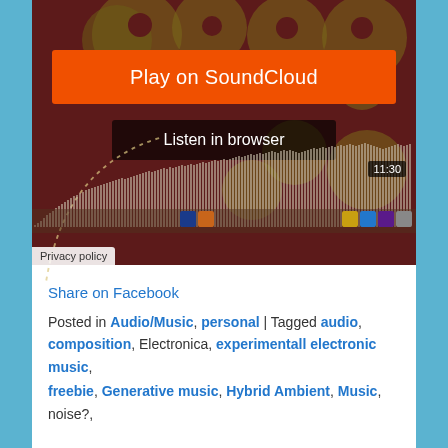[Figure (screenshot): SoundCloud embedded player showing a dark reddish-brown background with film reel circle patterns, an orange 'Play on SoundCloud' button, a dark 'Listen in browser' button, a dotted arc waveform, and audio waveform bars with a time indicator showing 11:30. A 'Privacy policy' label appears at the bottom left.]
Share on Facebook
Posted in Audio/Music, personal | Tagged audio, composition, Electronica, experimentall electronic music, freebie, Generative music, Hybrid Ambient, Music, noise?